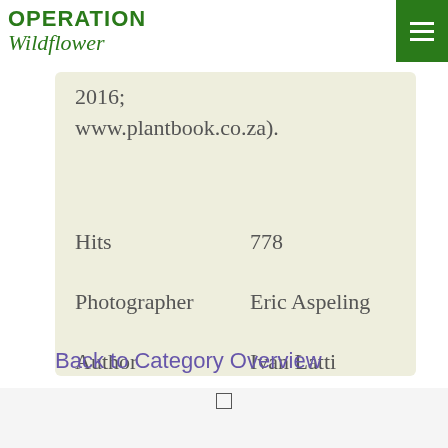OPERATION Wildflower
2016; www.plantbook.co.za).
| Field | Value |
| --- | --- |
| Hits | 778 |
| Photographer | Eric Aspeling |
| Author | Ivan Latti |
Back to Category Overview